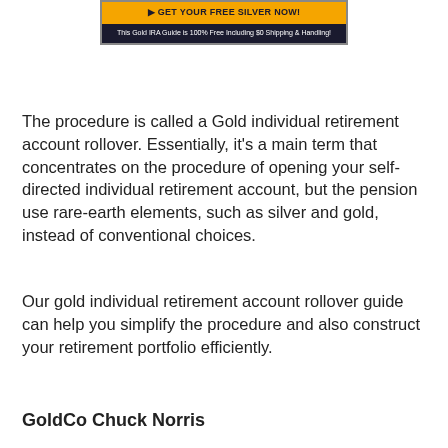[Figure (screenshot): Advertisement banner for a Gold IRA Guide showing an orange button with text 'GET YOUR FREE SILVER NOW!' and a subtitle 'This Gold IRA Guide is 100% Free Including $0 Shipping & Handling!' on a dark background.]
The procedure is called a Gold individual retirement account rollover. Essentially, it's a main term that concentrates on the procedure of opening your self-directed individual retirement account, but the pension use rare-earth elements, such as silver and gold, instead of conventional choices.
Our gold individual retirement account rollover guide can help you simplify the procedure and also construct your retirement portfolio efficiently.
GoldCo Chuck Norris